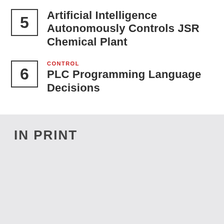5 Artificial Intelligence Autonomously Controls JSR Chemical Plant
CONTROL 6 PLC Programming Language Decisions
IN PRINT